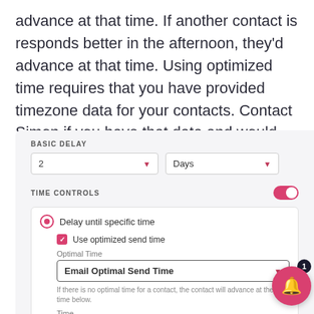advance at that time. If another contact is responds better in the afternoon, they'd advance at that time. Using optimized time requires that you have provided timezone data for your contacts. Contact Simon if you have that data and would like to set it up to be used in journeys.
[Figure (screenshot): UI panel showing BASIC DELAY section with dropdowns for '2' and 'Days', TIME CONTROLS section with toggle enabled, inner card showing 'Delay until specific time' radio selected, 'Use optimized send time' checkbox checked, Optimal Time dropdown set to 'Email Optimal Send Time', a note about no optimal time, a Time field showing '09:00 AM', and a notification bell badge in the bottom right.]